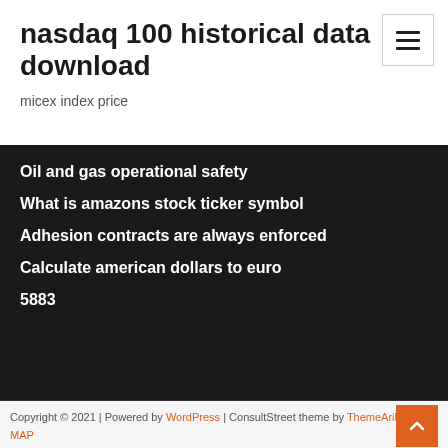nasdaq 100 historical data download
micex index price
Oil and gas operational safety
What is amazons stock ticker symbol
Adhesion contracts are always enforced
Calculate american dollars to euro
5883
Copyright © 2021 | Powered by WordPress | ConsultStreet theme by ThemeArile HTML MAP